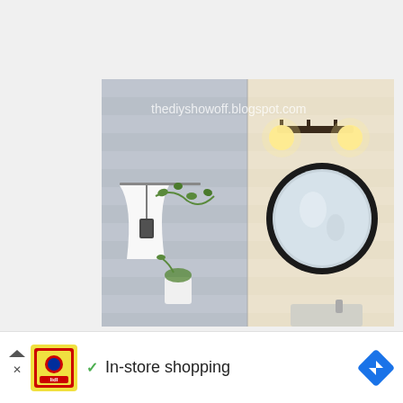[Figure (photo): Bathroom interior split view: left side shows gray striped walls with a curtain and hanging lantern with ivy; right side shows warm-lit wall sconce above a round black-framed mirror. Watermark text 'thediyshowoff.blogspot.com' overlaid on the image.]
[Figure (infographic): Advertisement bar at bottom: Lidl logo icon on left with ad arrows, green checkmark, text 'In-store shopping', and blue direction/navigation diamond icon on right.]